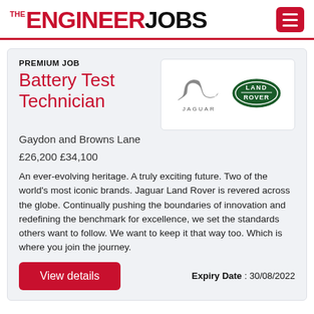THE ENGINEER JOBS
PREMIUM JOB
Battery Test Technician
[Figure (logo): Jaguar and Land Rover logos side by side on a white background box]
Gaydon and Browns Lane
£26,200 £34,100
An ever-evolving heritage. A truly exciting future. Two of the world's most iconic brands. Jaguar Land Rover is revered across the globe. Continually pushing the boundaries of innovation and redefining the benchmark for excellence, we set the standards others want to follow. We want to keep it that way too. Which is where you join the journey.
Expiry Date : 30/08/2022